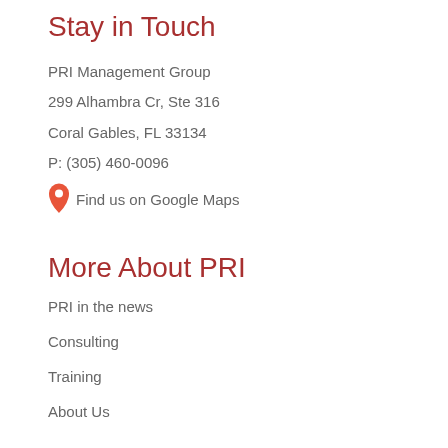Stay in Touch
PRI Management Group
299 Alhambra Cr, Ste 316
Coral Gables, FL 33134
P: (305) 460-0096
Find us on Google Maps
More About PRI
PRI in the news
Consulting
Training
About Us
Connect & Share